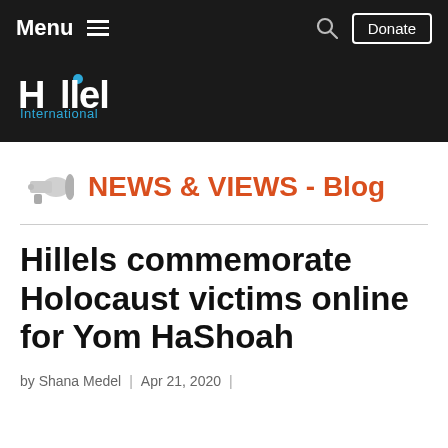Menu  Donate
[Figure (logo): Hillel International logo — white text on dark background, blue dot on letter i]
NEWS & VIEWS - Blog
Hillels commemorate Holocaust victims online for Yom HaShoah
by Shana Medel  |  Apr 21, 2020  |